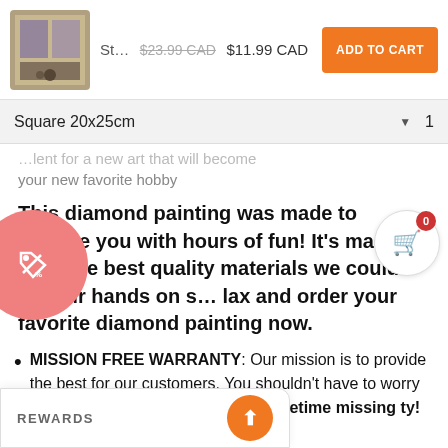St... $23.99 CAD $11.99 CAD  ADD TO CART
Square 20x25cm  1
your new favorite hobby
This diamond painting was made to provide you with hours of fun! It's made from the best quality materials we could get our hands on s... lax and order your favorite diamond painting now.
MISSION FREE WARRANTY: Our mission is to provide the best for our customers. You shouldn't have to worry about the diamonds. Now e with a lifetime missing ty!